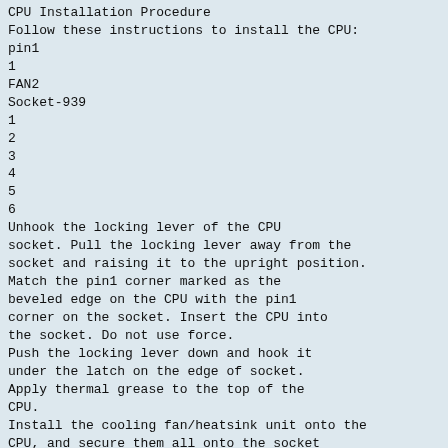CPU Installation Procedure
Follow these instructions to install the CPU:
pin1
1
FAN2
Socket-939
1
2
3
4
5
6
Unhook the locking lever of the CPU socket. Pull the locking lever away from the socket and raising it to the upright position.
Match the pin1 corner marked as the beveled edge on the CPU with the pin1 corner on the socket. Insert the CPU into the socket. Do not use force.
Push the locking lever down and hook it under the latch on the edge of socket.
Apply thermal grease to the top of the CPU.
Install the cooling fan/heatsink unit onto the CPU, and secure them all onto the socket base.
Plug the CPU fan power cable into the CPU fan connector (FAN2) on the motherboard.
Note: To achieve better airflow rates and heat dissipation, we suggest that you use a high quality fan with 4800 rpm at least.
CPU fan and heatsink installation procedures may vary with the type of CPU